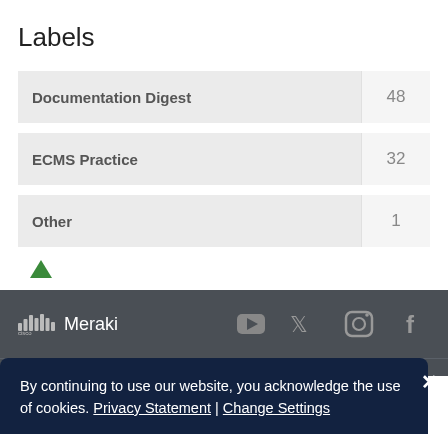Labels
Documentation Digest  48
ECMS Practice  32
Other  1
cisco Meraki [YouTube] [Twitter] [Instagram] [Facebook]
By continuing to use our website, you acknowledge the use of cookies. Privacy Statement | Change Settings